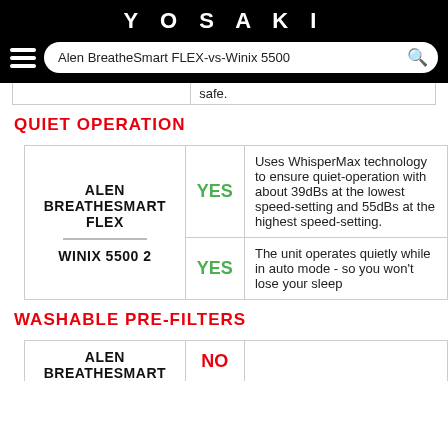YOSAKI
Alen BreatheSmart FLEX-vs-Winix 5500
safe.
QUIET OPERATION
| Product | Quiet Operation | Description |
| --- | --- | --- |
| ALEN BREATHESMART FLEX | YES | Uses WhisperMax technology to ensure quiet-operation with about 39dBs at the lowest speed-setting and 55dBs at the highest speed-setting. |
| WINIX 5500 2 | YES | The unit operates quietly while in auto mode - so you won't lose your sleep |
WASHABLE PRE-FILTERS
| Product | Washable Pre-Filters | Description |
| --- | --- | --- |
| ALEN BREATHESMART | NO |  |